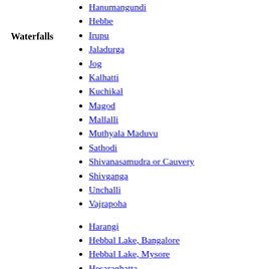Hanumangundi
Hebbe
Irupu
Jaladurga
Jog
Kalhatti
Kuchikal
Magod
Mallalli
Muthyala Maduvu
Sathodi
Shivanasamudra or Cauvery
Shivganga
Unchalli
Vajrapoha
Waterfalls
Harangi
Hebbal Lake, Bangalore
Hebbal Lake, Mysore
Hesaraghatta
Honnamana Kere
Karanji
Krishna Raja Sagara
Kukkarahalli
Lingambudhi
Lakes